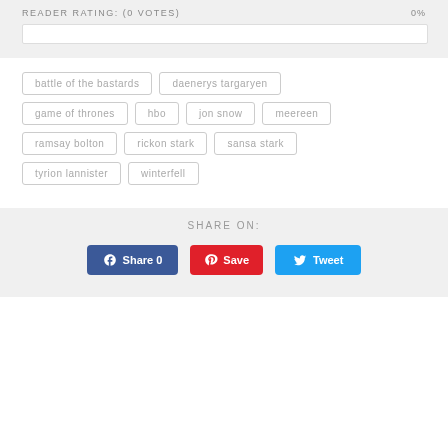READER RATING: (0 VOTES)    0%
battle of the bastards
daenerys targaryen
game of thrones
hbo
jon snow
meereen
ramsay bolton
rickon stark
sansa stark
tyrion lannister
winterfell
SHARE ON:
Share 0   Save   Tweet